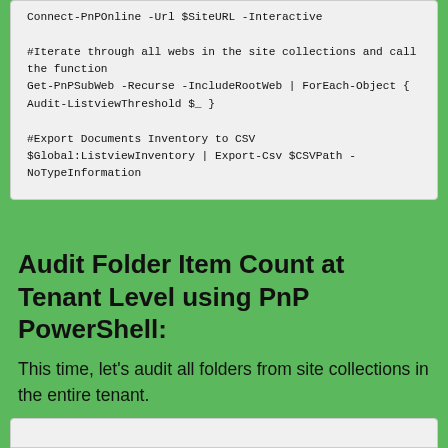Connect-PnPOnline -Url $SiteURL -Interactive

#Iterate through all webs in the site collections and call the function
Get-PnPSubWeb -Recurse -IncludeRootWeb | ForEach-Object { Audit-ListviewThreshold $_ }

#Export Documents Inventory to CSV
$Global:ListviewInventory | Export-Csv $CSVPath -NoTypeInformation
Audit Folder Item Count at Tenant Level using PnP PowerShell:
This time, let's audit all folders from site collections in the entire tenant.